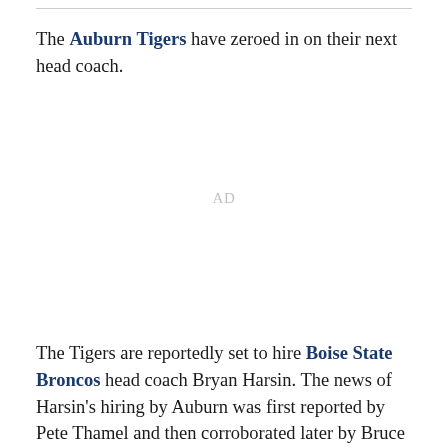The Auburn Tigers have zeroed in on their next head coach.
[Figure (other): Advertisement placeholder showing 'AD' text in light gray]
The Tigers are reportedly set to hire Boise State Broncos head coach Bryan Harsin. The news of Harsin's hiring by Auburn was first reported by Pete Thamel and then corroborated later by Bruce Feldman